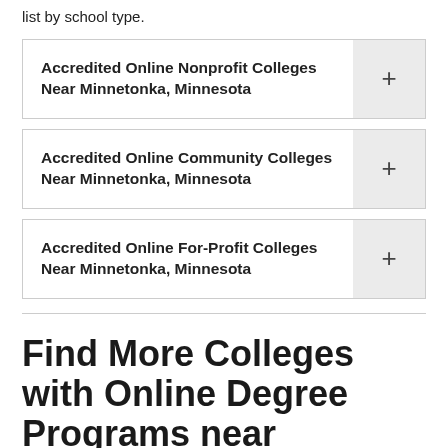list by school type.
Accredited Online Nonprofit Colleges Near Minnetonka, Minnesota
Accredited Online Community Colleges Near Minnetonka, Minnesota
Accredited Online For-Profit Colleges Near Minnetonka, Minnesota
Find More Colleges with Online Degree Programs near Minnetonka